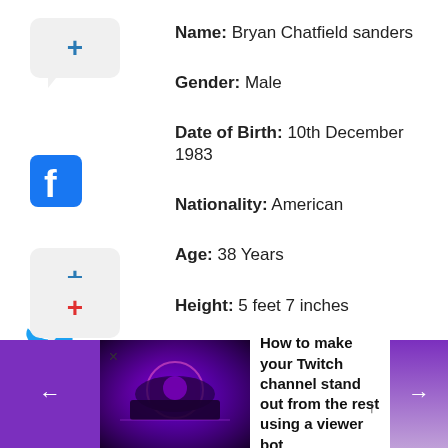Name: Bryan Chatfield sanders
Gender: Male
Date of Birth: 10th December 1983
Nationality: American
Age: 38 Years
Height: 5 feet 7 inches
How to make your Twitch channel stand out from the rest using a viewer bot